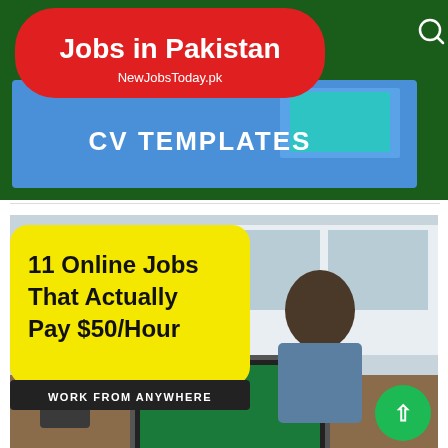[Figure (screenshot): Website header for NewJobsToday.pk showing 'Jobs in Pakistan' in white bold text on a red rounded banner over a dark green background, with 'NewJobsToday.pk' below. A search icon appears top right. Below the header is a blue banner with 'CV TEMPLATES' in bold white text.]
[Figure (photo): Promotional image with yellow box on left reading '11 Online Jobs That Actually Pay $50/Hour' in bold black text, with a dark banner below reading 'WORK FROM ANYWHERE'. Right side shows a man working on a laptop at a desk. A green circle with up-arrow appears bottom right.]